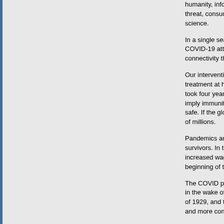humanity, informed by the unprecedented reach of digit threat, consumed by the same fears and uncertainties, science.
In a single season, civilization has been brought low by COVID-19 attacks our physical bodies, but also the cult connectivity that is for the human what claws and teeth
Our interventions to date have largely focused on mitiga treatment at hand, and no certainty of a vaccine on the took four years. COVID-19 killed 100,000 Americans in imply immunity, leaving some to question how effective safe. If the global population is to be immunized, lethal of millions.
Pandemics and plagues have a way of shifting the cour survivors. In the 14th Century, the Black Death killed clc increased wages. Rising expectations culminated in the beginning of the end of the feudal order that had domin.
The COVID pandemic will be remembered as such a m in the wake of the crisis. It will mark this era much as th of 1929, and the 1933 ascent of Adolf Hitler became fur and more consequential outcomes.
COVID◆s historic significance lies not in what it implies comes to culture. All peoples in all places at all times ar eliminate or downsize central offices, employees work f brings entertainment and sporting events into the home people will adapt, as we◆ve always done. Fluidity of m our species. As history confirms, it allows us to come to degradation.